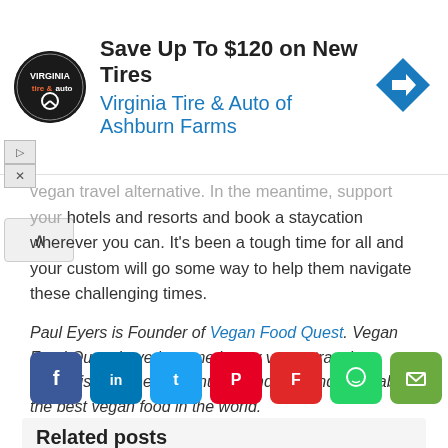[Figure (other): Advertisement banner: Virginia Tire & Auto logo (circular black logo), text 'Save Up To $120 on New Tires' and 'Virginia Tire & Auto of Ashburn Farms', blue diamond arrow icon on right]
...vegan travel alternative. In the meantime, support your hotels and resorts and book a staycation wherever you can. It's been a tough time for all and your custom will go some way to help them navigate these challenging times.
Paul Eyers is Founder of Vegan Food Quest. Vegan Food Quest have become luxury vegan travel specialists as they continue to find, eat and write about the best vegan food in the world.
If you would like to be a guest blogger on A Luxury Travel Blog in order to raise your profile, please contact us.
[Figure (infographic): Social share buttons row: Facebook (blue), LinkedIn (blue), Twitter (light blue), Pinterest (red), Flipboard (red), WhatsApp (green), Email (green)]
Related posts